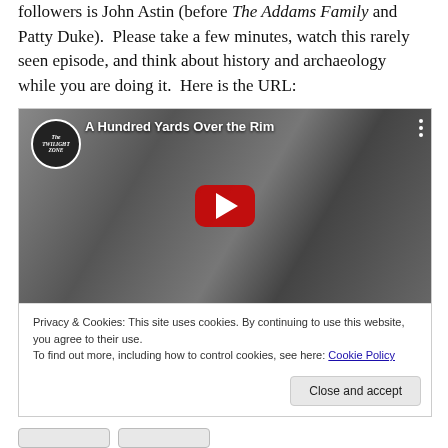followers is John Astin (before The Addams Family and Patty Duke).  Please take a few minutes, watch this rarely seen episode, and think about history and archaeology while you are doing it.  Here is the URL:
[Figure (screenshot): YouTube video thumbnail for 'A Hundred Yards Over the Rim' (Twilight Zone episode), showing two men in a black-and-white still. A red YouTube play button is overlaid in the center. The Twilight Zone logo appears in the upper left corner. Below the thumbnail is a cookie notice reading 'Privacy & Cookies: This site uses cookies. By continuing to use this website, you agree to their use. To find out more, including how to control cookies, see here: Cookie Policy' with a 'Close and accept' button.]
Privacy & Cookies: This site uses cookies. By continuing to use this website, you agree to their use.
To find out more, including how to control cookies, see here: Cookie Policy
Close and accept